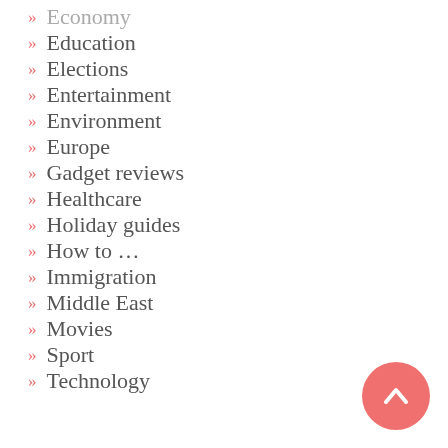Economy
Education
Elections
Entertainment
Environment
Europe
Gadget reviews
Healthcare
Holiday guides
How to …
Immigration
Middle East
Movies
Sport
Technology